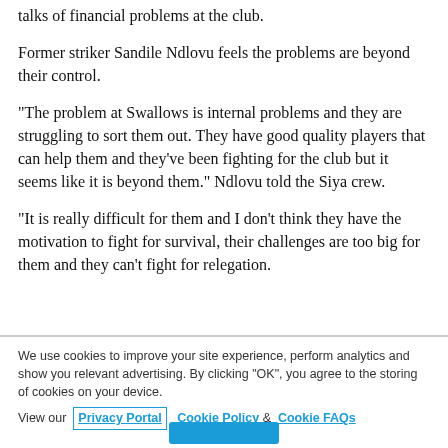talks of financial problems at the club.
Former striker Sandile Ndlovu feels the problems are beyond their control.
"The problem at Swallows is internal problems and they are struggling to sort them out. They have good quality players that can help them and they've been fighting for the club but it seems like it is beyond them." Ndlovu told the Siya crew.
"It is really difficult for them and I don't think they have the motivation to fight for survival, their challenges are too big for them and they can't fight for relegation.
We use cookies to improve your site experience, perform analytics and show you relevant advertising. By clicking "OK", you agree to the storing of cookies on your device. View our Privacy Portal Cookie Policy & Cookie FAQs